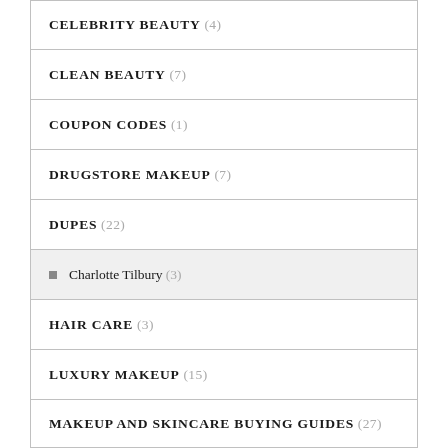CELEBRITY BEAUTY (4)
CLEAN BEAUTY (7)
COUPON CODES (1)
DRUGSTORE MAKEUP (7)
DUPES (22)
Charlotte Tilbury (3)
HAIR CARE (3)
LUXURY MAKEUP (15)
MAKEUP AND SKINCARE BUYING GUIDES (27)